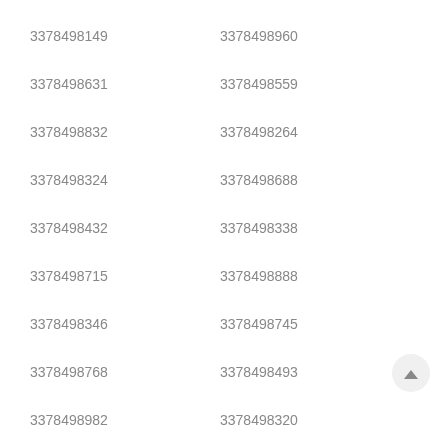3378498149
3378498960
3378498631
3378498559
3378498832
3378498264
3378498324
3378498688
3378498432
3378498338
3378498715
3378498888
3378498346
3378498745
3378498768
3378498493
3378498982
3378498320